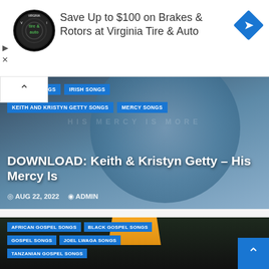[Figure (infographic): Virginia Tire & Auto advertisement banner with circular logo, text 'Save Up to $100 on Brakes & Rotors at Virginia Tire & Auto', and blue diamond navigation icon]
[Figure (infographic): Article card with dark ocean/water background and circle image overlay, tags: GOSPEL SONGS, IRISH SONGS, KEITH AND KRISTYN GETTY SONGS, MERCY SONGS. Title: 'DOWNLOAD: Keith & Kristyn Getty – His Mercy Is'. Date: AUG 22, 2022, Author: ADMIN]
[Figure (infographic): Article card with dark background showing faces, tags: AFRICAN GOSPEL SONGS, BLACK GOSPEL SONGS, GOSPEL SONGS, JOEL LWAGA SONGS, TANZANIAN GOSPEL SONGS. Title starts: 'DOWNLOAD: Future Destin – Na...']